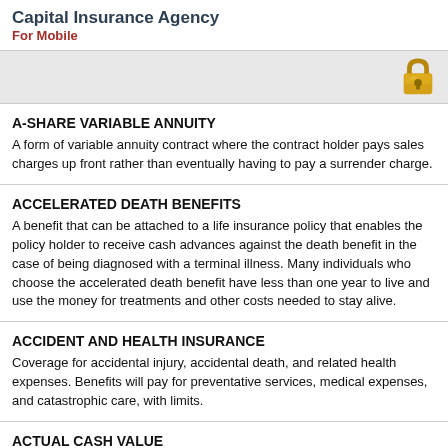Capital Insurance Agency
For Mobile
[Figure (illustration): Gold padlock icon on gray bar]
A-SHARE VARIABLE ANNUITY
A form of variable annuity contract where the contract holder pays sales charges up front rather than eventually having to pay a surrender charge.
ACCELERATED DEATH BENEFITS
A benefit that can be attached to a life insurance policy that enables the policy holder to receive cash advances against the death benefit in the case of being diagnosed with a terminal illness. Many individuals who choose the accelerated death benefit have less than one year to live and use the money for treatments and other costs needed to stay alive.
ACCIDENT AND HEALTH INSURANCE
Coverage for accidental injury, accidental death, and related health expenses. Benefits will pay for preventative services, medical expenses, and catastrophic care, with limits.
ACTUAL CASH VALUE
A form of insurance that pays damages equal to the replacement value of damaged property minus depreciation.